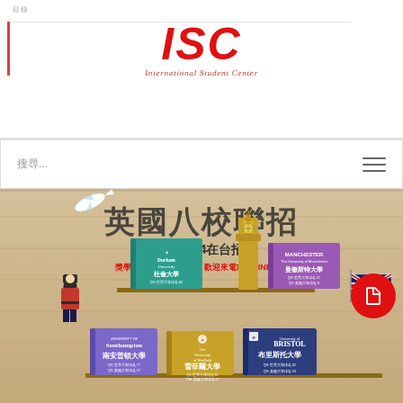ISC International Student Center
搜尋...
[Figure (infographic): 英國八校聯招 2023-2024在台招生 獎學金和申請相關資訊 歡迎來電或加LINE諮詢。Features illustrated books representing UK universities: 杜倫大學 (Durham University, QS世界大學排名82, Guardian英國大學列名5, 提供科系：管理、文歷史、體育科學、物理、化學、教育、藝術), 曼徹斯特大學 (University of Manchester, QS世界大學排名27, QS英國大學排名6, 提供科系：管理學、材料技術、記錄學、計算機科學、護理學), 南安普頓大學 (University of Southampton, QS世界大學排名77, QS英國大學排名12), 雪菲爾大學 (The University of Sheffield, QS世界大學排名95, THE英國大學排名13), 布里斯托大學 (University of Bristol, QS世界大學排名62, QS英國大學排名10). Decorative elements include an airplane, Big Ben tower, British Royal Guard, and UK flag.]